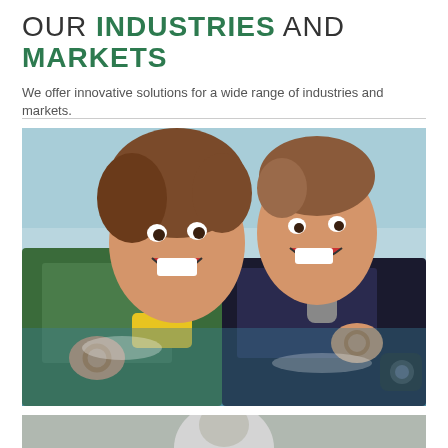OUR INDUSTRIES AND MARKETS
We offer innovative solutions for a wide range of industries and markets.
[Figure (photo): Two smiling scuba divers in wetsuits and diving gear in the ocean, making OK gestures with their hands, with blue-green water and a hazy shoreline in the background.]
[Figure (photo): Partial view of another photo below, showing a figure partially visible at the bottom of the page.]